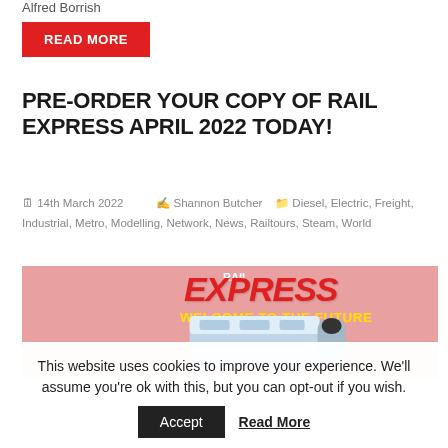Alfred Borrish
READ MORE
PRE-ORDER YOUR COPY OF RAIL EXPRESS APRIL 2022 TODAY!
14th March 2022   Shannon Butcher   Diesel, Electric, Freight, Industrial, Metro, Modelling, Network, News, Railtours, Steam, World
[Figure (photo): Magazine cover of Rail Express showing Elizabeth Line train with text WELCOME TO THE FUTURE and subtitle Elizabeth Line opening is in sight]
This website uses cookies to improve your experience. We'll assume you're ok with this, but you can opt-out if you wish.
Accept   Read More